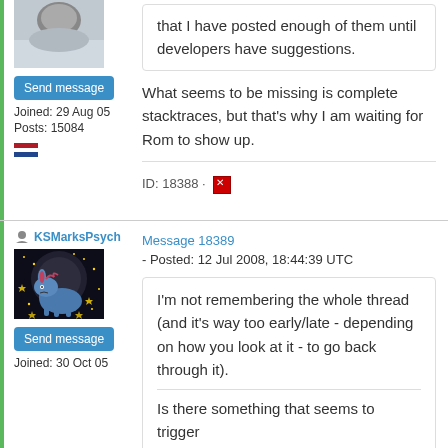[Figure (photo): Partial avatar image (snow/sky scene) at top left]
Send message
Joined: 29 Aug 05
Posts: 15084
[Figure (illustration): Dutch flag icon]
that I have posted enough of them until developers have suggestions.
What seems to be missing is complete stacktraces, but that's why I am waiting for Rom to show up.
ID: 18388 · [report icon]
[Figure (photo): User icon (person silhouette)]
KSMarksPsych
Message 18389 - Posted: 12 Jul 2008, 18:44:39 UTC
[Figure (illustration): Avatar of cartoon blue donkey (Eeyore-like) on dark starry background]
Send message
Joined: 30 Oct 05
I'm not remembering the whole thread (and it's way too early/late - depending on how you look at it - to go back through it).
Is there something that seems to trigger